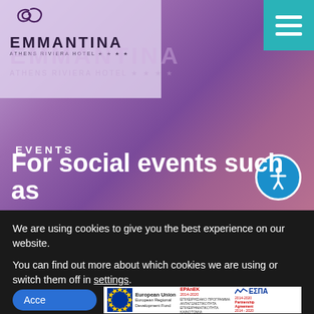[Figure (screenshot): Emmantina Athens Riviera Hotel website screenshot showing hero section with purple/mauve background, hotel logo top-left, hamburger menu top-right, accessibility button, EVENTS label, and partial hero text 'For social events such as...']
EVENTS
For social events such as
We are using cookies to give you the best experience on our website.
You can find out more about which cookies we are using or switch them off in settings.
Acce
[Figure (logo): European Union / EPAnEK 2014-2020 / ESPA 2014-2020 Partnership Agreement logos banner at bottom]